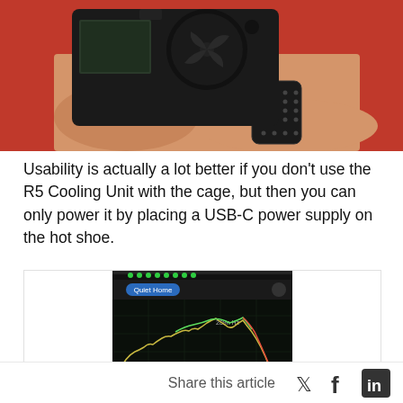[Figure (photo): Hands holding a camera with a fan cooling unit attached, against a red background. The person is wearing a black sport watch.]
Usability is actually a lot better if you don't use the R5 Cooling Unit with the cage, but then you can only power it by placing a USB-C power supply on the hot shoe.
[Figure (screenshot): Screenshot of an audio measurement app showing a frequency spectrum graph on a dark background with a yellow/green waveform, and a VU meter gauge at the bottom.]
Share this article